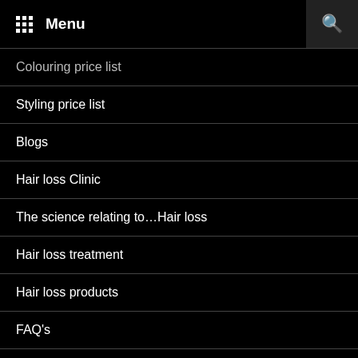Menu
Colouring price list
Styling price list
Blogs
Hair loss Clinic
The science relating to…Hair loss
Hair loss treatment
Hair loss products
FAQ's
Shop
Basket
Checkout
My account
Blogs 2021
Blogs 2020
Skin testing
Bilston